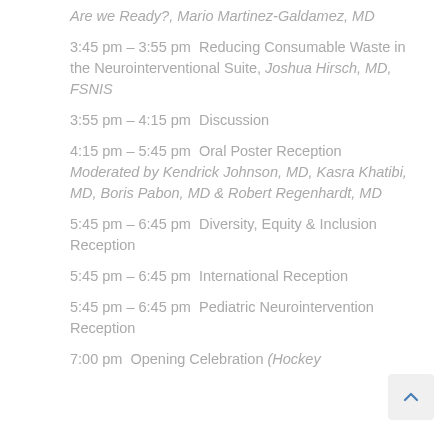Are we Ready?, Mario Martinez-Galdamez, MD
3:45 pm – 3:55 pm  Reducing Consumable Waste in the Neurointerventional Suite, Joshua Hirsch, MD, FSNIS
3:55 pm – 4:15 pm  Discussion
4:15 pm – 5:45 pm  Oral Poster Reception Moderated by Kendrick Johnson, MD, Kasra Khatibi, MD, Boris Pabon, MD & Robert Regenhardt, MD
5:45 pm – 6:45 pm  Diversity, Equity & Inclusion Reception
5:45 pm – 6:45 pm  International Reception
5:45 pm – 6:45 pm  Pediatric Neurointervention Reception
7:00 pm  Opening Celebration (Hockey...